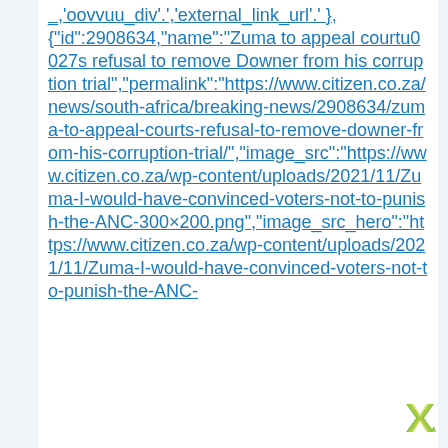_;'oovvuu_div'.',external_link_url'.'},
{"id":2908634,"name":"Zuma to appeal courtu0027s refusal to remove Downer from his corruption trial","permalink":"https://www.citizen.co.za/news/south-africa/breaking-news/2908634/zuma-to-appeal-courts-refusal-to-remove-downer-from-his-corruption-trial/","image_src":"https://www.citizen.co.za/wp-content/uploads/2021/11/Zuma-I-would-have-convinced-voters-not-to-punish-the-ANC-300x200.png","image_src_hero":"https://www.citizen.co.za/wp-content/uploads/2021/11/Zuma-I-would-have-convinced-voters-not-to-punish-the-ANC-